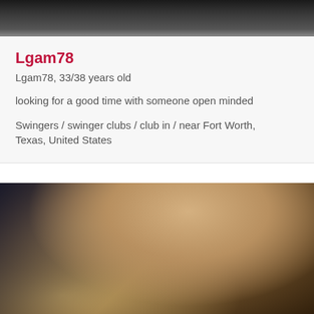[Figure (photo): Top portion of a photo showing dark clothing, partially cropped]
Lgam78
Lgam78, 33/38 years old
looking for a good time with someone open minded
Swingers / swinger clubs / club in / near Fort Worth, Texas, United States
[Figure (photo): Close-up photo of a person with blonde hair, head tilted down]